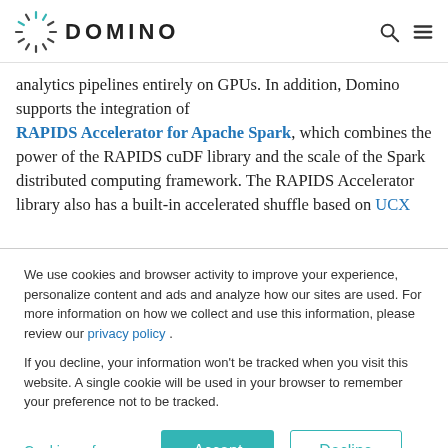DOMINO
analytics pipelines entirely on GPUs. In addition, Domino supports the integration of RAPIDS Accelerator for Apache Spark, which combines the power of the RAPIDS cuDF library and the scale of the Spark distributed computing framework. The RAPIDS Accelerator library also has a built-in accelerated shuffle based on UCX
We use cookies and browser activity to improve your experience, personalize content and ads and analyze how our sites are used. For more information on how we collect and use this information, please review our privacy policy .
If you decline, your information won't be tracked when you visit this website. A single cookie will be used in your browser to remember your preference not to be tracked.
Cookie preferences | Accept | Decline